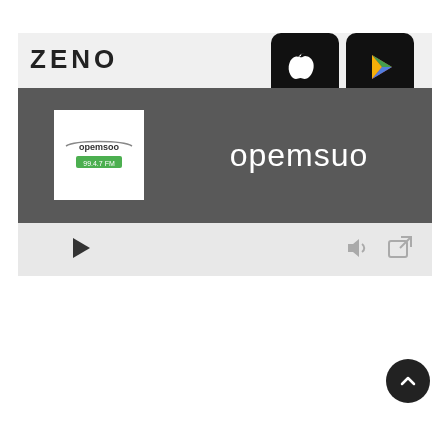[Figure (logo): ZENO logo text in bold black letters on light gray header bar]
[Figure (screenshot): Apple App Store black button with white Apple logo]
[Figure (screenshot): Google Play Store black button with colorful triangle logo]
[Figure (screenshot): Opemsuo radio station media player widget with dark background showing station logo, station name 'opemsuo', play button, volume icon, and external link icon]